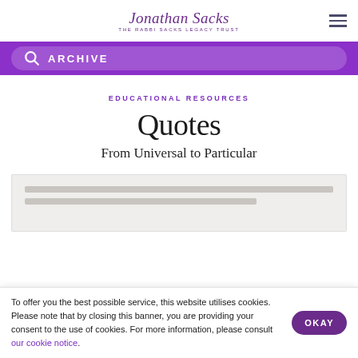Jonathan Sacks — The Rabbi Sacks Legacy Trust
ARCHIVE
EDUCATIONAL RESOURCES
Quotes
From Universal to Particular
To offer you the best possible service, this website utilises cookies. Please note that by closing this banner, you are providing your consent to the use of cookies. For more information, please consult our cookie notice.